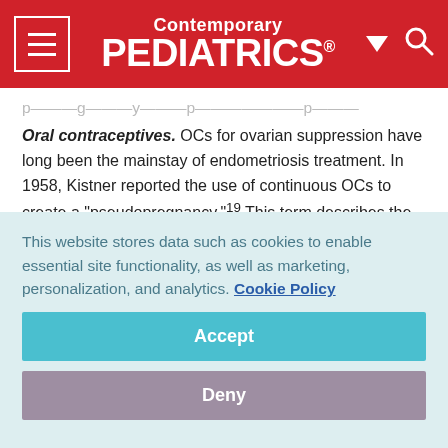Contemporary PEDIATRICS
Oral contraceptives. OCs for ovarian suppression have long been the mainstay of endometriosis treatment. In 1958, Kistner reported the use of continuous OCs to create a "pseudopregnancy."19 This term describes the amenorrhea and decidualization of endometrial tissue that is induced by continuous combined estrogen and progestin. This regimen relieves associated pain more than 80% of the time,
This website stores data such as cookies to enable essential site functionality, as well as marketing, personalization, and analytics. Cookie Policy